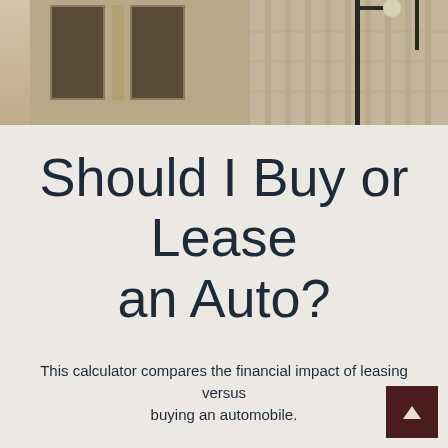[Figure (photo): Sepia-toned photograph of a large classical stone building facade with tall windows, street lamp, and urban architecture in the background.]
Should I Buy or Lease an Auto?
This calculator compares the financial impact of leasing versus buying an automobile.